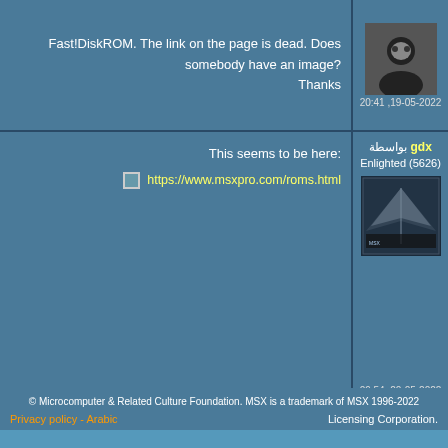Fast!DiskROM. The link on the page is dead. Does somebody have an image? Thanks
20:41 ,19-05-2022
This seems to be here:
https://www.msxpro.com/roms.html
بواسطة gdx
Enlighted (5626)
09:54 ,20-05-2022
LOGIN OR REGISTER TO POST COMMENTS
Become a member
Don't you have an account yet? Become an MSX-friend and register an account!
Register now
© Microcomputer & Related Culture Foundation. MSX is a trademark of MSX 1996-2022
Privacy policy - Arabic | Licensing Corporation.